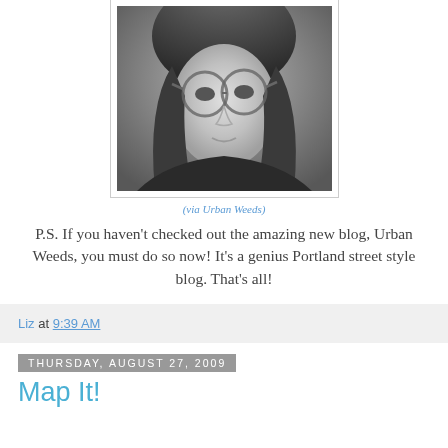[Figure (photo): Black and white portrait photo of a young woman wearing aviator glasses, hair down, slight smile]
(via Urban Weeds)
P.S. If you haven't checked out the amazing new blog, Urban Weeds, you must do so now! It's a genius Portland street style blog. That's all!
Liz at 9:39 AM
Thursday, August 27, 2009
Map It!